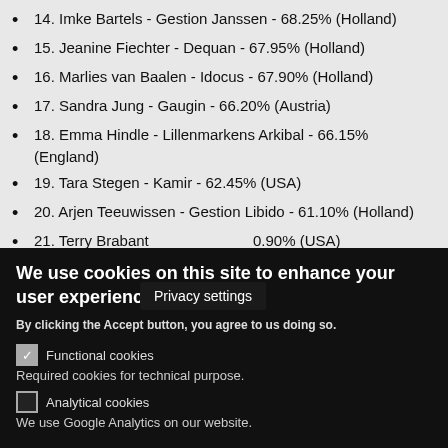14. Imke Bartels - Gestion Janssen - 68.25% (Holland)
15. Jeanine Fiechter - Dequan - 67.95% (Holland)
16. Marlies van Baalen - Idocus - 67.90% (Holland)
17. Sandra Jung - Gaugin - 66.20% (Austria)
18. Emma Hindle - Lillenmarkens Arkibal - 66.15% (England)
19. Tara Stegen - Kamir - 62.45% (USA)
20. Arjen Teeuwissen - Gestion Libido - 61.10% (Holland)
21. Terry Brabant - [Privacy settings tooltip] 0.90% (USA)
We use cookies on this site to enhance your user experience
By clicking the Accept button, you agree to us doing so.
Functional cookies
Required cookies for technical purpose.
Analytical cookies
We use Google Analytics on our website.